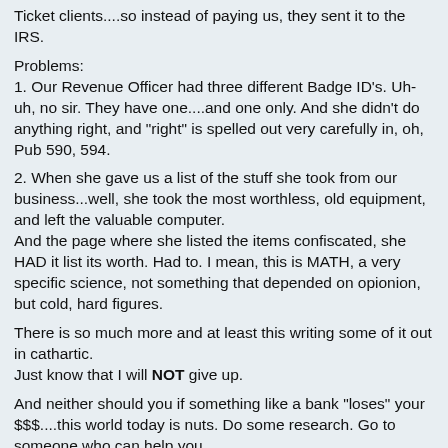Ticket clients....so instead of paying us, they sent it to the IRS.
Problems:
1. Our Revenue Officer had three different Badge ID's. Uh-uh, no sir. They have one....and one only. And she didn't do anything right, and "right" is spelled out very carefully in, oh, Pub 590, 594.
2. When she gave us a list of the stuff she took from our business...well, she took the most worthless, old equipment, and left the valuable computer.
And the page where she listed the items confiscated, she HAD it list its worth. Had to. I mean, this is MATH, a very specific science, not something that depended on opionion, but cold, hard figures.
There is so much more and at least this writing some of it out in cathartic.
Just know that I will NOT give up.
And neither should you if something like a bank "loses" your $$$....this world today is nuts. Do some research. Go to someone who can help you.
I know all questions to answer after...the phone...